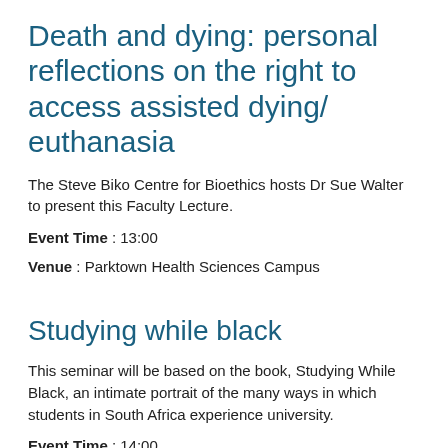Death and dying: personal reflections on the right to access assisted dying/ euthanasia
The Steve Biko Centre for Bioethics hosts Dr Sue Walter to present this Faculty Lecture.
Event Time : 13:00
Venue : Parktown Health Sciences Campus
Studying while black
This seminar will be based on the book, Studying While Black, an intimate portrait of the many ways in which students in South Africa experience university.
Event Time : 14:00
Venue : Wits Art Museum